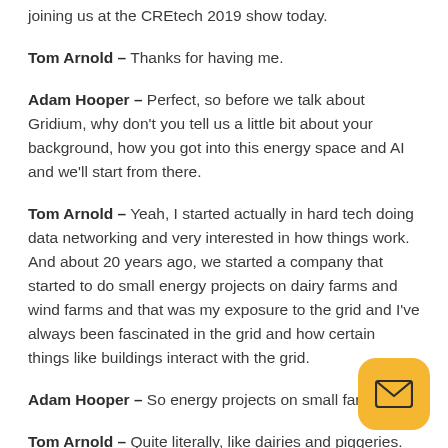joining us at the CREtech 2019 show today.
Tom Arnold – Thanks for having me.
Adam Hooper – Perfect, so before we talk about Gridium, why don't you tell us a little bit about your background, how you got into this energy space and AI and we'll start from there.
Tom Arnold – Yeah, I started actually in hard tech doing data networking and very interested in how things work. And about 20 years ago, we started a company that started to do small energy projects on dairy farms and wind farms and that was my exposure to the grid and I've always been fascinated in the grid and how certain things like buildings interact with the grid.
Adam Hooper – So energy projects on small far…
Tom Arnold – Quite literally, like dairies and piggeries.